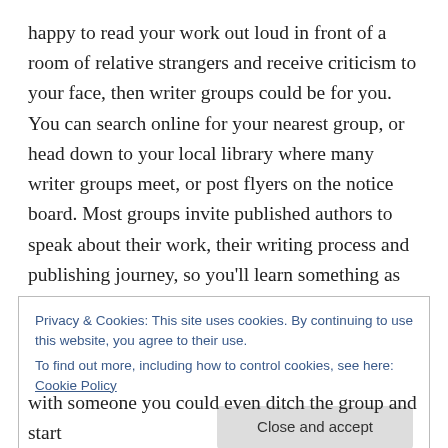happy to read your work out loud in front of a room of relative strangers and receive criticism to your face, then writer groups could be for you. You can search online for your nearest group, or head down to your local library where many writer groups meet, or post flyers on the notice board. Most groups invite published authors to speak about their work, their writing process and publishing journey, so you'll learn something as well as getting valuable feedback from your fellow writers.
In my experience (from that one time I attended a group... #introvertsunite), there's often a weekly (or monthly,
Privacy & Cookies: This site uses cookies. By continuing to use this website, you agree to their use.
To find out more, including how to control cookies, see here: Cookie Policy
with someone you could even ditch the group and start